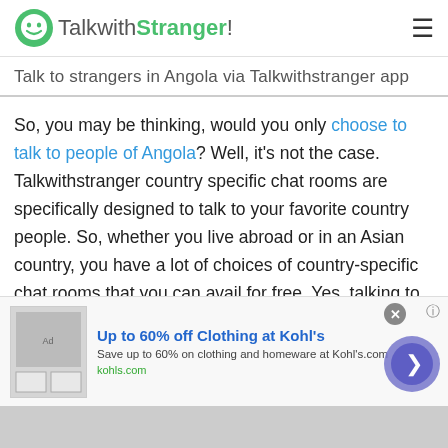TalkwithStranger!
Talk to strangers in Angola via Talkwithstranger app
So, you may be thinking, would you only choose to talk to people of Angola? Well, it's not the case. Talkwithstranger country specific chat rooms are specifically designed to talk to your favorite country people. So, whether you live abroad or in an Asian country, you have a lot of choices of country-specific chat rooms that you can avail for free. Yes, talking to strangers in Angola via Talkwithstranger app is completely free. You can talk to strangers in Angola, Germany, Canada, India, Pakistan, UK or wherever
[Figure (screenshot): Advertisement banner: Up to 60% off Clothing at Kohl's - Save up to 60% on clothing and homeware at Kohls.com, kohls.com]